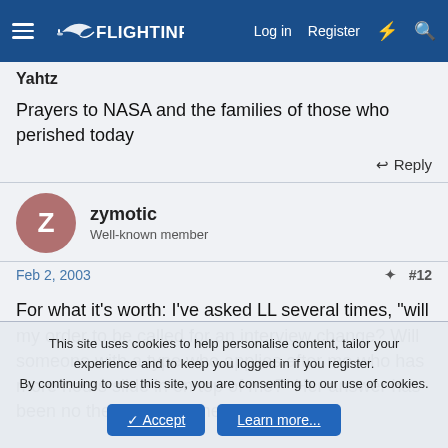FlightInfo — Log in | Register
Yahtz
Prayers to NASA and the families of those who perished today
Reply
zymotic
Well-known member
Feb 2, 2003  #12
For what it's worth: I've asked LL several times, "will my order to be called for an interview change? Will someone with a type who applies after me who has more hours slide in on top of me?" Her answer has been no they will not. The order will
This site uses cookies to help personalise content, tailor your experience and to keep you logged in if you register.
By continuing to use this site, you are consenting to our use of cookies.